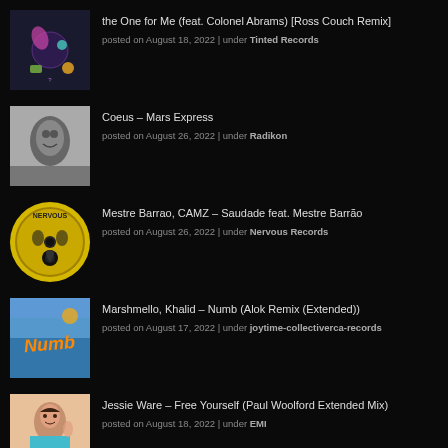the One for Me (feat. Colonel Abrams) [Ross Couch Remix] | posted on August 18, 2022 | under Tinted Records
Coeus – Mars Express | posted on August 26, 2022 | under Radikon
Mestre Barrao, CAMZ – Saudade feat. Mestre Barrão | posted on August 26, 2022 | under Nervous Records
Marshmello, Khalid – Numb (Alok Remix (Extended)) | posted on August 17, 2022 | under joytime-collectiverca-records
Jessie Ware – Free Yourself (Paul Woolford Extended Mix) | posted on August 18, 2022 | under EMI
Hershel – Brightikana